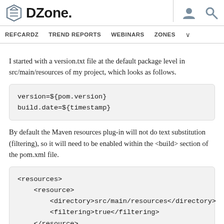DZone. REFCARDZ  TREND REPORTS  WEBINARS  ZONES
I started with a version.txt file at the default package level in src/main/resources of my project, which looks as follows.
By default the Maven resources plug-in will not do text substitution (filtering), so it will need to be enabled within the <build> section of the pom.xml file.